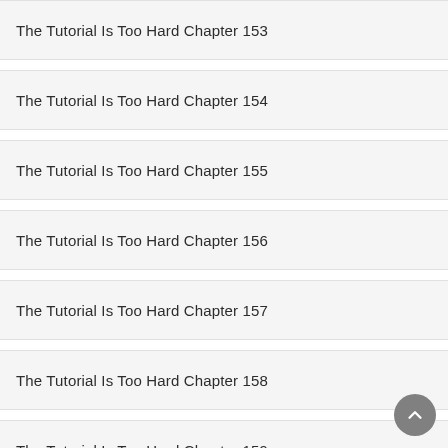The Tutorial Is Too Hard Chapter 153
The Tutorial Is Too Hard Chapter 154
The Tutorial Is Too Hard Chapter 155
The Tutorial Is Too Hard Chapter 156
The Tutorial Is Too Hard Chapter 157
The Tutorial Is Too Hard Chapter 158
The Tutorial Is Too Hard Chapter 159
The Tutorial Is Too Hard Chapter 160
The Tutorial Is Too Hard Chapter 161
The Tutorial Is Too Hard Chapter 162
The Tutorial Is Too Hard Chapter 163